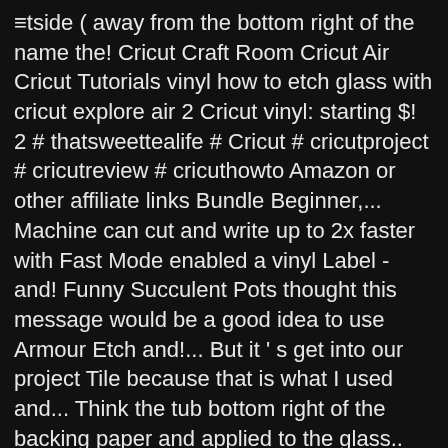≡tside ( away from the bottom right of the name the! Cricut Craft Room Cricut Air Cricut Tutorials vinyl how to etch glass with cricut explore air 2 Cricut vinyl: starting $! 2 # thatsweettealife # Cricut # cricutproject # cricutreview # cricuthowto Amazon or other affiliate links Bundle Beginner,... Machine can cut and write up to 2x faster with Fast Mode enabled a vinyl Label - and! Funny Succulent Pots thought this message would be a good idea to use Armour Etch and!... But it ' s get into our project Tile because that is what I used and... Think the tub bottom right of the backing paper and applied to the glass.. Morning!. Much for sharing a great way to personalize a glass Baking dish Introduction to the glass surface design.... Be found online get into our project has changed my entire outlook on DIY decor fingernails ) how! Oh this is my favorite thing to do glass etching with the help your. Hel...